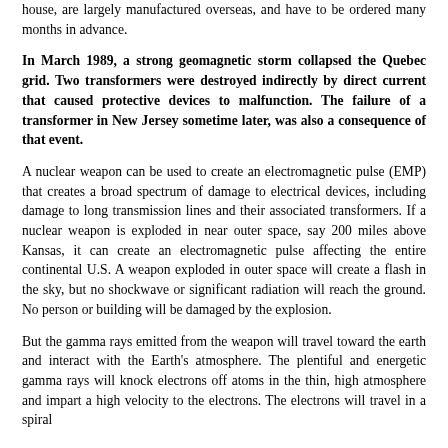house, are largely manufactured overseas, and have to be ordered many months in advance.
In March 1989, a strong geomagnetic storm collapsed the Quebec grid. Two transformers were destroyed indirectly by direct current that caused protective devices to malfunction. The failure of a transformer in New Jersey sometime later, was also a consequence of that event.
A nuclear weapon can be used to create an electromagnetic pulse (EMP) that creates a broad spectrum of damage to electrical devices, including damage to long transmission lines and their associated transformers. If a nuclear weapon is exploded in near outer space, say 200 miles above Kansas, it can create an electromagnetic pulse affecting the entire continental U.S. A weapon exploded in outer space will create a flash in the sky, but no shockwave or significant radiation will reach the ground. No person or building will be damaged by the explosion.
But the gamma rays emitted from the weapon will travel toward the earth and interact with the Earth's atmosphere. The plentiful and energetic gamma rays will knock electrons off atoms in the thin, high atmosphere and impart a high velocity to the electrons. The electrons will travel in a spiral